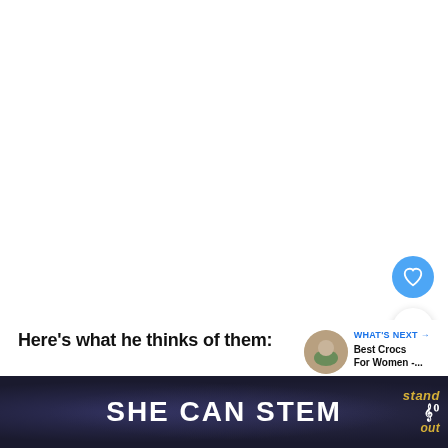[Figure (screenshot): White empty area representing an image or video placeholder]
Here's what he thinks of them:
WHAT'S NEXT → Best Crocs For Women -....
“These Crocs are great, I really like the design
SHE CAN STEM